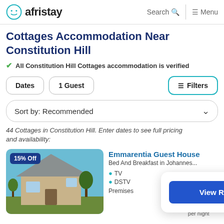afristay  Search  Menu
Cottages Accommodation Near Constitution Hill
✓ All Constitution Hill Cottages accommodation is verified
Dates  1 Guest  Filters
Sort by: Recommended
44 Cottages in Constitution Hill. Enter dates to see full pricing and availability:
[Figure (photo): Photo of Emmarentia Guest House, a two-storey house with grey roof, beige walls, set against a blue sky with trees in the background. A '15% Off' badge is shown in the top-left corner.]
Emmarentia Guest House
Bed And Breakfast in Johannes...
● TV
● DSTV
...Premises
FROM R840
per night
View Results